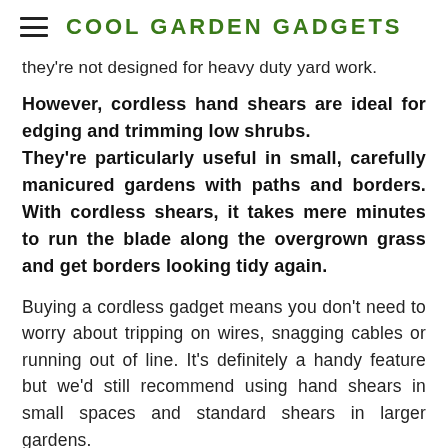COOL GARDEN GADGETS
they're not designed for heavy duty yard work.
However, cordless hand shears are ideal for edging and trimming low shrubs. They're particularly useful in small, carefully manicured gardens with paths and borders. With cordless shears, it takes mere minutes to run the blade along the overgrown grass and get borders looking tidy again.
Buying a cordless gadget means you don't need to worry about tripping on wires, snagging cables or running out of line. It's definitely a handy feature but we'd still recommend using hand shears in small spaces and standard shears in larger gardens.